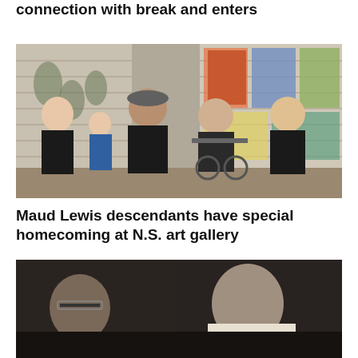connection with break and enters
[Figure (photo): Group photo of five people — a young woman, a young boy, a man in a cap, an older woman in a wheelchair, and another woman — posing together in front of a wall with artwork and shingle-style background.]
Maud Lewis descendants have special homecoming at N.S. art gallery
[Figure (photo): Two men photographed from behind/side near a vehicle, one wearing glasses, in low light.]